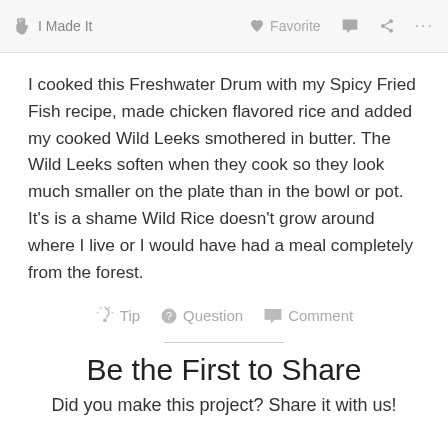I Made It   Favorite   Comment   Share   ...
I cooked this Freshwater Drum with my Spicy Fried Fish recipe, made chicken flavored rice and added my cooked Wild Leeks smothered in butter. The Wild Leeks soften when they cook so they look much smaller on the plate than in the bowl or pot. It’s is a shame Wild Rice doesn’t grow around where I live or I would have had a meal completely from the forest.
Tip   Question   Comment
Be the First to Share
Did you make this project? Share it with us!